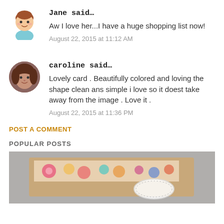[Figure (illustration): Cartoon avatar of Jane, a girl with brown hair wearing a blue top]
Jane said…
Aw I love her...I have a huge shopping list now!
August 22, 2015 at 11:12 AM
[Figure (photo): Circular photo avatar of caroline, a woman with short brown hair]
caroline said…
Lovely card . Beautifully colored and loving the shape clean ans simple i love so it doest take away from the image . Love it .
August 22, 2015 at 11:36 PM
POST A COMMENT
POPULAR POSTS
[Figure (photo): Colorful floral patterned card craft photo at the bottom of the page]